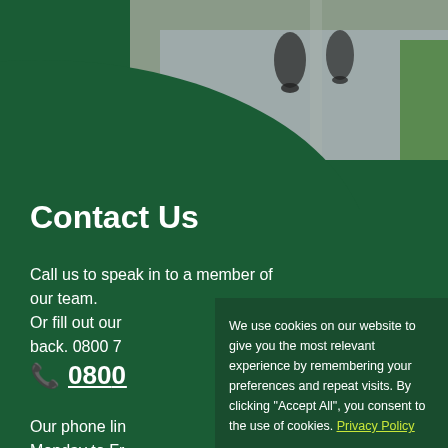[Figure (photo): Motorcycle riders seen from behind riding on a road, viewed from above]
Contact Us
Call us to speak in to a member of our team. Or fill out our back. 0800 7
📞 0800
Our phone line Monday to Fr
We use cookies on our website to give you the most relevant experience by remembering your preferences and repeat visits. By clicking "Accept All", you consent to the use of cookies. Privacy Policy
Accept All